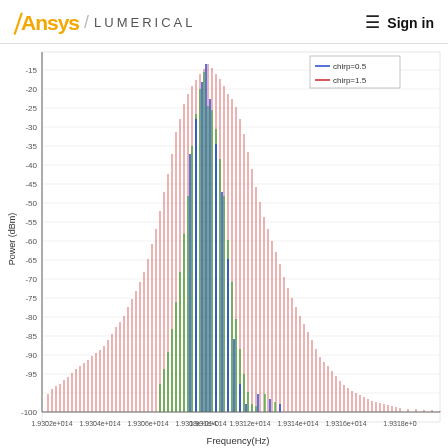Ansys / LUMERICAL   Sign in
[Figure (continuous-plot): Optical power spectrum (dBm) vs frequency (Hz) near 1.931e+14 Hz, showing multiple chirp parameter overlays. Three spectral series are shown: blue (chirp=0.5, partially visible in legend), green (chirp=0.5), and red (chirp=1.5). The red series shows the broadest spectrum with many sidebands extending from about 1.9302e+14 to 1.9318e+14 Hz. The y-axis ranges from -100 to about -15 dBm. The peak is centered around 1.931e+14 Hz.]